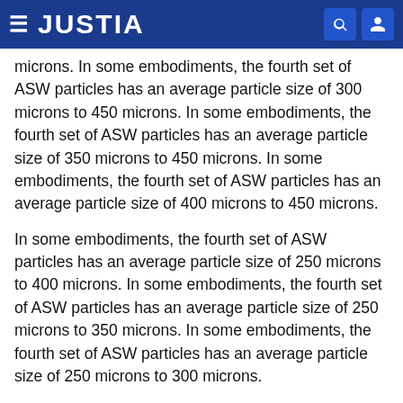JUSTIA
microns. In some embodiments, the fourth set of ASW particles has an average particle size of 300 microns to 450 microns. In some embodiments, the fourth set of ASW particles has an average particle size of 350 microns to 450 microns. In some embodiments, the fourth set of ASW particles has an average particle size of 400 microns to 450 microns.
In some embodiments, the fourth set of ASW particles has an average particle size of 250 microns to 400 microns. In some embodiments, the fourth set of ASW particles has an average particle size of 250 microns to 350 microns. In some embodiments, the fourth set of ASW particles has an average particle size of 250 microns to 300 microns.
In some embodiments, the fourth set of ASW particles has an average particle size of 300 microns to 400